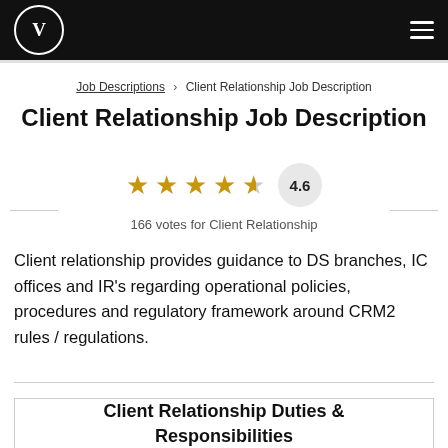V (logo) | hamburger menu
Job Descriptions > Client Relationship Job Description
Client Relationship Job Description
[Figure (other): 4.6 star rating with 5 stars (4 full, 1 half) and badge showing 4.6]
166 votes for Client Relationship
Client relationship provides guidance to DS branches, IC offices and IR’s regarding operational policies, procedures and regulatory framework around CRM2 rules / regulations.
Client Relationship Duties & Responsibilities